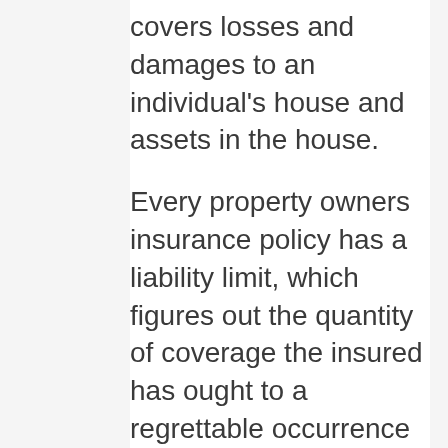covers losses and damages to an individual's house and assets in the house.
Every property owners insurance policy has a liability limit, which figures out the quantity of coverage the insured has ought to a regrettable occurrence take place (Homeowners And Auto Insurance Bundle). Property owners insurance coverage must not be puzzled with a house service warranty or with home mortgage insurance coverage. Understanding Homeowners Insurance A homeowners insurance coverage normally covers four type of events